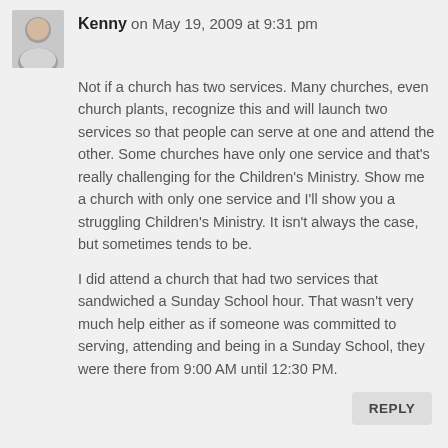Kenny on May 19, 2009 at 9:31 pm
Not if a church has two services. Many churches, even church plants, recognize this and will launch two services so that people can serve at one and attend the other. Some churches have only one service and that's really challenging for the Children's Ministry. Show me a church with only one service and I'll show you a struggling Children's Ministry. It isn't always the case, but sometimes tends to be.
I did attend a church that had two services that sandwiched a Sunday School hour. That wasn't very much help either as if someone was committed to serving, attending and being in a Sunday School, they were there from 9:00 AM until 12:30 PM.
REPLY